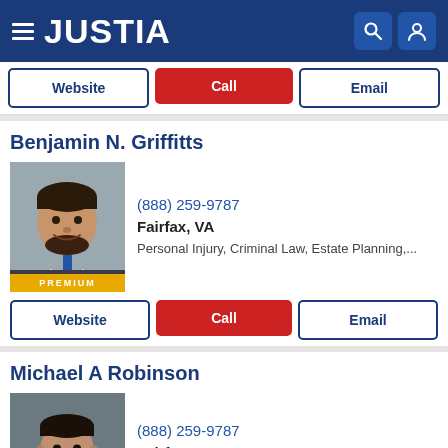[Figure (screenshot): Justia website header with hamburger menu, JUSTIA logo in white on dark blue background, search and user icons]
Website | Call | Email (top button bar)
Benjamin N. Griffitts
[Figure (photo): Professional headshot of Benjamin N. Griffitts, a man in a suit with a tie, smiling, with PREMIUM badge]
(888) 259-9787
Fairfax, VA
Personal Injury, Criminal Law, Estate Planning,...
Website | Call | Email (button bar for Griffitts)
Michael A Robinson
[Figure (photo): Professional headshot of Michael A Robinson, a man in a suit, serious expression, with PREMIUM badge]
(888) 259-9787
Fairfax, VA
Criminal Law, DUI & DWI, Juvenile Law, Traffic ...